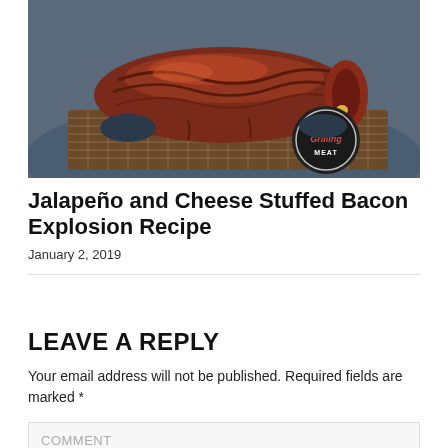[Figure (photo): A person in a blue shirt holding a glazed bacon explosion roll on a wire rack grill. The meat roll is dark red and glossy. A logo reading 'I Love Grilling Meat' is visible in the lower right of the image.]
Jalapeño and Cheese Stuffed Bacon Explosion Recipe
January 2, 2019
LEAVE A REPLY
Your email address will not be published. Required fields are marked *
COMMENT